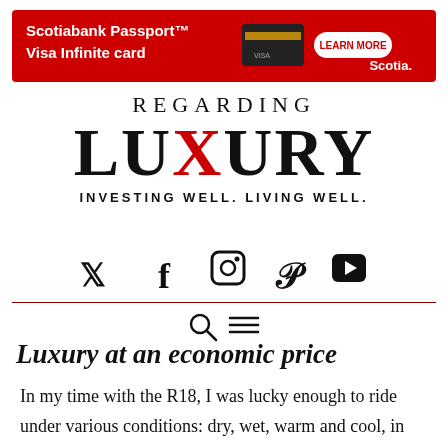[Figure (infographic): Scotiabank Passport Visa Infinite card advertisement banner in red with LEARN MORE button and Scotia logo]
REGARDING LUXURY — INVESTING WELL. LIVING WELL.
[Figure (infographic): Social media icons: Twitter, Facebook, Instagram, Pinterest, YouTube]
[Figure (infographic): Navigation row with search icon and hamburger menu icon]
Luxury at an economic price
In my time with the R18, I was lucky enough to ride under various conditions: dry, wet, warm and cool, in city and out in the open.